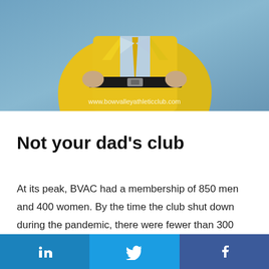[Figure (photo): Person wearing a bright yellow suit with a black belt, arms on hips, against a blue background. Watermark: www.bowvalleyathleticclub.com]
Not your dad's club
At its peak, BVAC had a membership of 850 men and 400 women. By the time the club shut down during the pandemic, there were fewer than 300 men and a handful of women. The target membership is 1,000.
LinkedIn | Twitter | Facebook